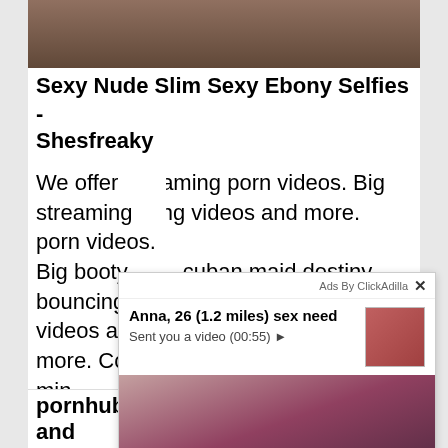[Figure (photo): Partial image at top of page, blurred/dark]
Sexy Nude Slim Sexy Ebony Selfies - Shesfreaky
We offer streaming porn videos. Big booty bouncing videos and more. Com 2 minbangbros - cuban maid destiny gets h m te gi n e se b xi
[Figure (photo): Ad overlay: Anna, 26 (1.2 miles) sex need - Sent you a video (00:55) with thumbnail photo of woman with pink/red hair in car]
pornhub team is always updating and